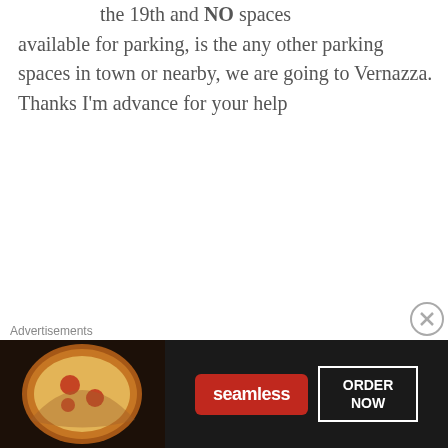the 19th and NO spaces available for parking, is the any other parking spaces in town or nearby, we are going to Vernazza. Thanks I'm advance for your help
Like
REPLY
Cinque Terre Insider says:
Ciao Stig!
[Figure (logo): Cinque Terre Insider logo with text in a box]
[Figure (screenshot): Seamless food ordering advertisement banner with pizza image and ORDER NOW button]
Advertisements